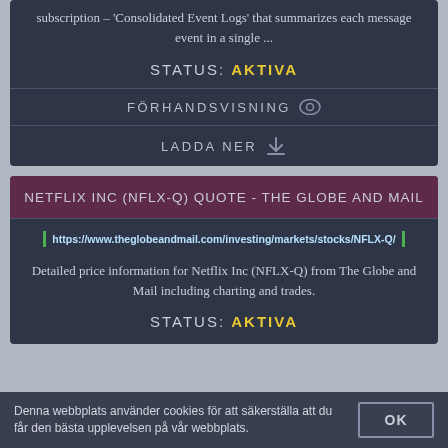subscription – 'Consolidated Event Logs' that summarizes each message event in a single ...
STATUS: AKTIVA
FÖRHANDSVISNING
LADDA NER
NETFLIX INC (NFLX-Q) QUOTE - THE GLOBE AND MAIL
https://www.theglobeandmail.com/investing/markets/stocks/NFLX-Q/
Detailed price information for Netflix Inc (NFLX-Q) from The Globe and Mail including charting and trades.
STATUS: AKTIVA
Denna webbplats använder cookies för att säkerställa att du får den bästa upplevelsen på vår webbplats.